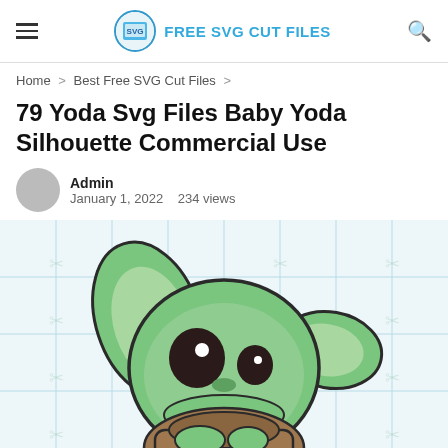FREE SVG CUT FILES
Home > Best Free SVG Cut Files >
79 Yoda Svg Files Baby Yoda Silhouette Commercial Use
Admin
January 1, 2022   234 views
[Figure (illustration): Baby Yoda (The Child / Grogu) SVG illustration on a light blue grid background with watermark scissors icons. The character has large green ears, big dark eyes with white highlights, green skin, and brown robe/body. Decorative scissor watermarks are tiled across the image.]